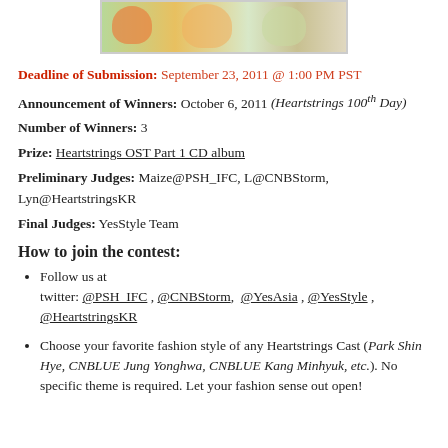[Figure (photo): Partial photo strip at top showing Heartstrings cast members]
Deadline of Submission: September 23, 2011 @ 1:00 PM PST
Announcement of Winners: October 6, 2011 (Heartstrings 100th Day)
Number of Winners: 3
Prize: Heartstrings OST Part 1 CD album
Preliminary Judges: Maize@PSH_IFC, L@CNBStorm, Lyn@HeartstringsKR
Final Judges: YesStyle Team
How to join the contest:
Follow us at twitter: @PSH_IFC , @CNBStorm, @YesAsia , @YesStyle , @HeartstringsKR
Choose your favorite fashion style of any Heartstrings Cast (Park Shin Hye, CNBLUE Jung Yonghwa, CNBLUE Kang Minhyuk, etc.). No specific theme is required. Let your fashion sense out open!